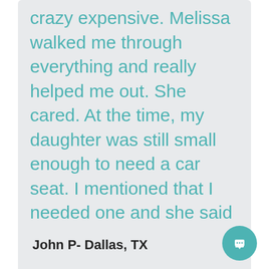crazy expensive. Melissa walked me through everything and really helped me out. She cared. At the time, my daughter was still small enough to need a car seat. I mentioned that I needed one and she said she had one at her house that was spare because she used to do foster care. She gave me a car seat and brought my daughter some treats when she brought it.
John P- Dallas, TX